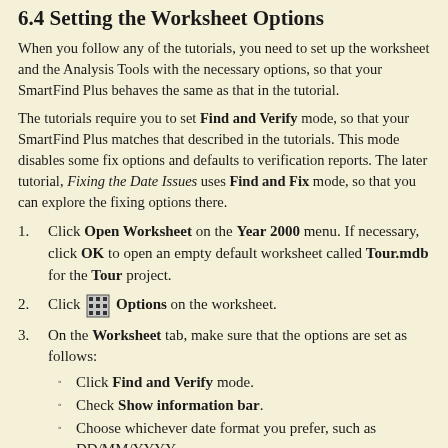6.4 Setting the Worksheet Options
When you follow any of the tutorials, you need to set up the worksheet and the Analysis Tools with the necessary options, so that your SmartFind Plus behaves the same as that in the tutorial.
The tutorials require you to set Find and Verify mode, so that your SmartFind Plus matches that described in the tutorials. This mode disables some fix options and defaults to verification reports. The later tutorial, Fixing the Date Issues uses Find and Fix mode, so that you can explore the fixing options there.
1. Click Open Worksheet on the Year 2000 menu. If necessary, click OK to open an empty default worksheet called Tour.mdb for the Tour project.
2. Click [icon] Options on the worksheet.
3. On the Worksheet tab, make sure that the options are set as follows:
Click Find and Verify mode.
Check Show information bar.
Choose whichever date format you prefer, such as DD/MM/YYYY.